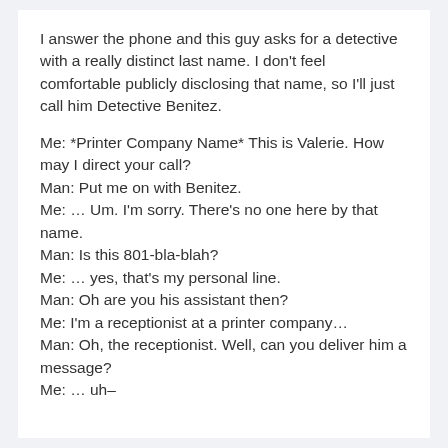I answer the phone and this guy asks for a detective with a really distinct last name. I don't feel comfortable publicly disclosing that name, so I'll just call him Detective Benitez.
Me: *Printer Company Name* This is Valerie. How may I direct your call?
Man: Put me on with Benitez.
Me: … Um. I'm sorry. There's no one here by that name.
Man: Is this 801-bla-blah?
Me: … yes, that's my personal line.
Man: Oh are you his assistant then?
Me: I'm a receptionist at a printer company…
Man: Oh, the receptionist. Well, can you deliver him a message?
Me: … uh–